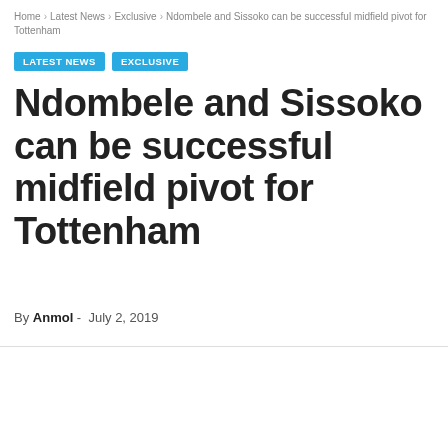Home › Latest News › Exclusive › Ndombele and Sissoko can be successful midfield pivot for Tottenham
LATEST NEWS   EXCLUSIVE
Ndombele and Sissoko can be successful midfield pivot for Tottenham
By Anmol - July 2, 2019